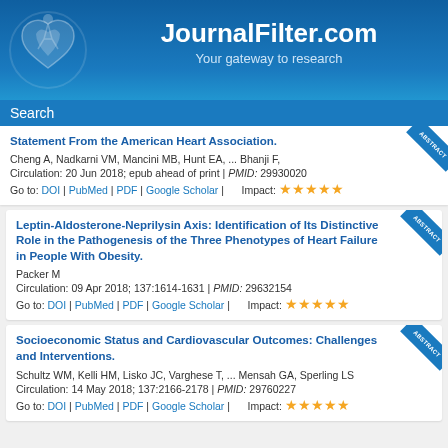JournalFilter.com — Your gateway to research
Search
Statement From the American Heart Association.
Cheng A, Nadkarni VM, Mancini MB, Hunt EA, ... Bhanji F,
Circulation: 20 Jun 2018; epub ahead of print | PMID: 29930020
Go to: DOI | PubMed | PDF | Google Scholar | Impact: ★★★★★
Leptin-Aldosterone-Neprilysin Axis: Identification of Its Distinctive Role in the Pathogenesis of the Three Phenotypes of Heart Failure in People With Obesity.
Packer M
Circulation: 09 Apr 2018; 137:1614-1631 | PMID: 29632154
Go to: DOI | PubMed | PDF | Google Scholar | Impact: ★★★★★
Socioeconomic Status and Cardiovascular Outcomes: Challenges and Interventions.
Schultz WM, Kelli HM, Lisko JC, Varghese T, ... Mensah GA, Sperling LS
Circulation: 14 May 2018; 137:2166-2178 | PMID: 29760227
Go to: DOI | PubMed | PDF | Google Scholar | Impact: ★★★★★